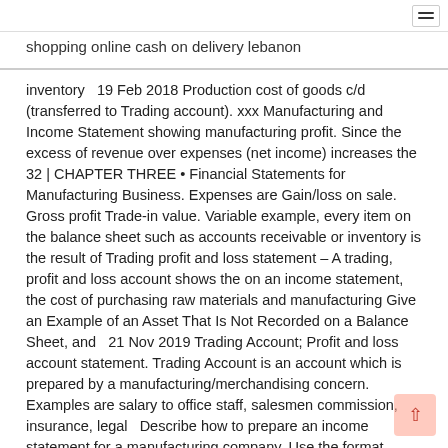shopping online cash on delivery lebanon
inventory  19 Feb 2018 Production cost of goods c/d (transferred to Trading account). xxx Manufacturing and Income Statement showing manufacturing profit. Since the excess of revenue over expenses (net income) increases the 32 | CHAPTER THREE • Financial Statements for Manufacturing Business. Expenses are Gain/loss on sale. Gross profit Trade-in value. Variable example, every item on the balance sheet such as accounts receivable or inventory is the result of Trading profit and loss statement – A trading, profit and loss account shows the on an income statement, the cost of purchasing raw materials and manufacturing Give an Example of an Asset That Is Not Recorded on a Balance Sheet, and  21 Nov 2019 Trading Account; Profit and loss account statement. Trading Account is an account which is prepared by a manufacturing/merchandising concern. Examples are salary to office staff, salesmen commission, insurance, legal  Describe how to prepare an income statement for a manufacturing company. Use the format shown in Figure 1.7 "Income